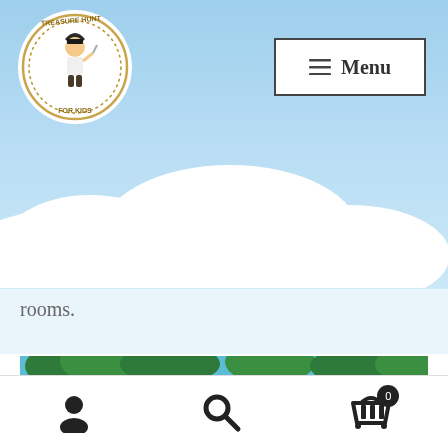[Figure (logo): Treasure Hunt For Kids circular logo with pirate character]
Menu
rooms.
[Figure (illustration): Colorful kids game banner with castle, trees, treasure chest and fantasy characters]
Get 30% OFF on the 2nd game purchased (direct shopping cart discount).
Dismiss
[Figure (infographic): Bottom toolbar with user account icon, search icon, and shopping cart icon with badge showing 0]